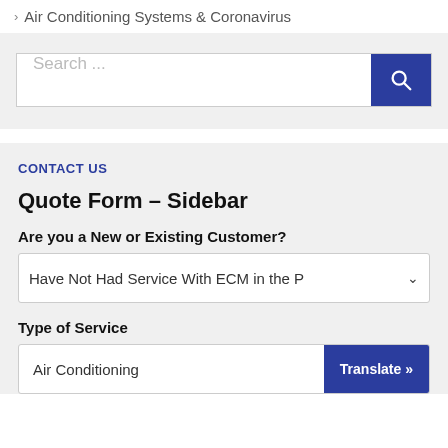> Air Conditioning Systems & Coronavirus
[Figure (screenshot): Search bar with text input placeholder 'Search ...' and a dark blue search button with magnifying glass icon]
CONTACT US
Quote Form – Sidebar
Are you a New or Existing Customer?
Have Not Had Service With ECM in the P
Type of Service
Air Conditioning